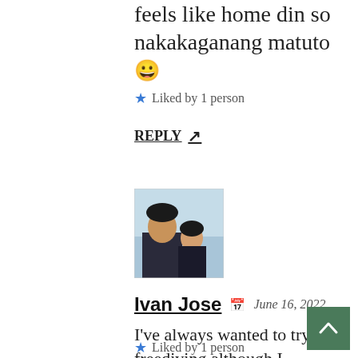feels like home din so nakakaganang matuto 😀
★ Liked by 1 person
REPLY ↗
[Figure (photo): Profile photo of Ivan Jose showing a man and woman taking a selfie outdoors]
Ivan Jose 📅 June 16, 2022
I've always wanted to try freediving although I have some hesitations. I hope to muster the courage soon because the underwater sceneries are so beautiful.
★ Liked by 1 person